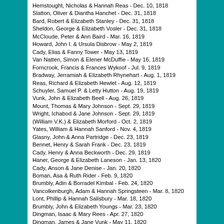Hemstought, Nicholas & Hannah Reas - Dec. 10, 1818
Slatton, Oliver & Diantha Hanchet - Dec. 31, 1818
Bard, Robert & Elizabeth Stanley - Dec. 31, 1818
Sheldon, George & Elizabeth Vosler - Dec. 31, 1818
McCloude, Peter & Ann Baird - Mar. 16, 1819
Howard, John I. & Ursula Disbrow - May 2, 1819
Cady, Elias & Fanny Tower - May 13, 1819
Van Natten, Simon & Elener McDuffie - May 16, 1819
Forncrook, Francis & Frances Wykoof - Jul. 9, 1819
Bradway, Jerramiah & Elizabeth Rhynehart - Aug. 1, 1819
Reas, Richard & Elizabeth Hewlet - Aug. 12, 1819
Schuyler, Samuel P. & Letty Hutton - Aug. 19, 1819
Vunk, John & Elizabeth Beell - Aug. 26, 1819
Mount, Thomas & Mary Johnson - Sept. 29, 1819
Wright, Ichabod & Jane Johnson - Sept. 29, 1819
(William V.K.) & Elizabeth Morford - Oct. 2, 1819
Yates, William & Hannah Sanford - Nov. 4, 1819
Glasny, John & Anna Partridge - Dec. 23, 1819
Bennet, Henry & Sarah Frank - Dec. 23, 1819
Cady, Henry & Anna Beckworth - Dec. 29, 1819
Haner, George & Elizabeth Laneson - Jan. 13, 1820
Cady, Anson & Jane Denise - Jan. 20, 1820
Boman, Asa & Ruth Rider - Feb. 9, 1820
Brumbly, Adin & Borradel Kimbal - Feb. 24, 1820
Vancolkenburgh, Adam & Hannah Springsteen - Mar. 8, 1820
Lont, Phillip & Hannah Salisbury - Mar. 18, 1820
Brumbly, John & Elizabeth Youngs - Mar. 23, 1820
Dingman, Isaac & Mary Rees - Apr. 27, 1820
Dingman, James & Jane Vunk - May 11, 1820